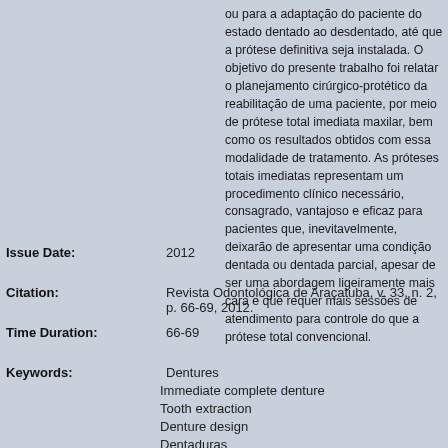ou para a adaptação do paciente do estado dentado ao desdentado, até que a prótese definitiva seja instalada. O objetivo do presente trabalho foi relatar o planejamento cirúrgico-protético da reabilitação de uma paciente, por meio de prótese total imediata maxilar, bem como os resultados obtidos com essa modalidade de tratamento. As próteses totais imediatas representam um procedimento clínico necessário, consagrado, vantajoso e eficaz para pacientes que, inevitavelmente, deixarão de apresentar uma condição dentada ou dentada parcial, apesar de ser uma abordagem ligeiramente mais cara e que requer mais sessões de atendimento para controle do que a prótese total convencional.
Issue Date: 2012
Citation: Revista Odontológica de Araçatuba, v. 33, n. 2, p. 66-69, 2012.
Time Duration: 66-69
Keywords: Dentures
Immediate complete denture
Tooth extraction
Denture design
Dentaduras
Prótese total imediata